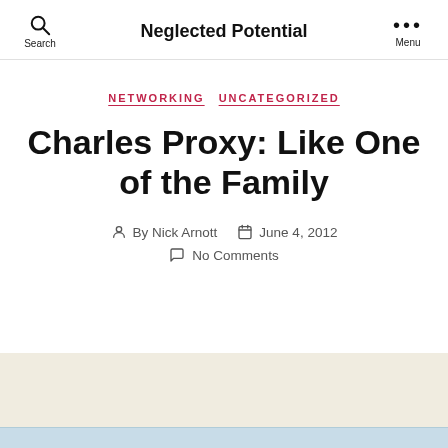Neglected Potential
NETWORKING  UNCATEGORIZED
Charles Proxy: Like One of the Family
By Nick Arnott  June 4, 2012  No Comments